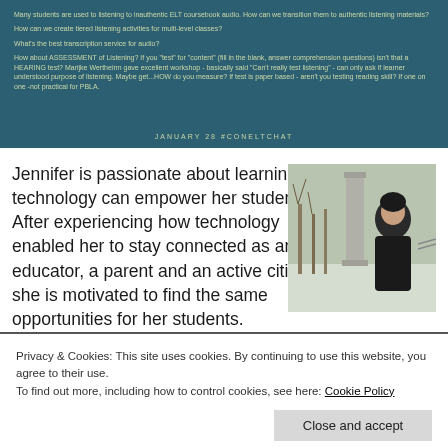[Figure (screenshot): Dark teal/navy banner with discussion questions about ELT listening materials and a date line reading JANUARY 28 #CONELTCHAT]
Jennifer is passionate about learning how technology can empower her students. After experiencing how technology enabled her to stay connected as an educator, a parent and an active citizen, she is motivated to find the same opportunities for her students.
[Figure (photo): Portrait photo of a woman (Jennifer) standing outdoors in winter, wearing a dark coat, with bare trees and a monument/pillar in the background.]
Privacy & Cookies: This site uses cookies. By continuing to use this website, you agree to their use. To find out more, including how to control cookies, see here: Cookie Policy